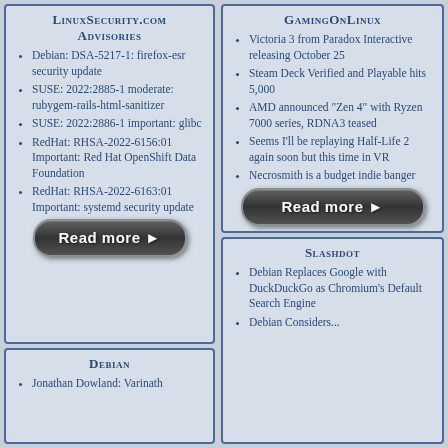LinuxSecurity.com Advisories
Debian: DSA-5217-1: firefox-esr security update
SUSE: 2022:2885-1 moderate: rubygem-rails-html-sanitizer
SUSE: 2022:2886-1 important: glibc
RedHat: RHSA-2022-6156:01 Important: Red Hat OpenShift Data Foundation
RedHat: RHSA-2022-6163:01 Important: systemd security update
[Figure (other): Read more button for LinuxSecurity.com]
Debian
Jonathan Dowland: Varinath
GamingOnLinux
Victoria 3 from Paradox Interactive releasing October 25
Steam Deck Verified and Playable hits 5,000
AMD announced "Zen 4" with Ryzen 7000 series, RDNA3 teased
Seems I'll be replaying Half-Life 2 again soon but this time in VR
Necrosmith is a budget indie banger
[Figure (other): Read more button for GamingOnLinux]
Slashdot
Debian Replaces Google with DuckDuckGo as Chromium's Default Search Engine
Debian Considers...